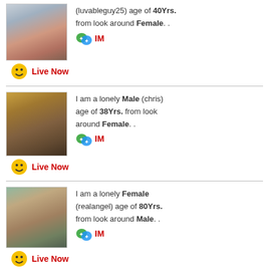[Figure (photo): Profile photo of young man]
(luvableguy25) age of 40Yrs. from look around Female. .
IM
Live Now
[Figure (photo): Profile photo of man]
I am a lonely Male (chris) age of 38Yrs. from look around Female. .
IM
Live Now
[Figure (photo): Profile photo of woman]
I am a lonely Female (realangel) age of 80Yrs. from look around Male. .
IM
Live Now